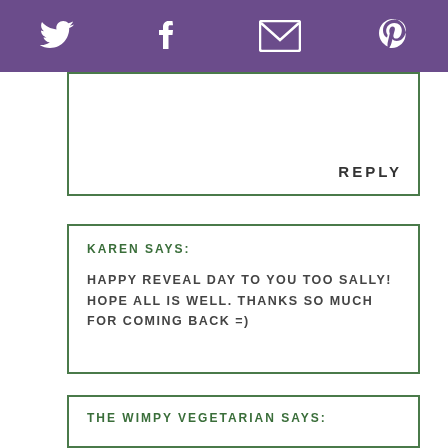[Social share icons: Twitter, Facebook, Email, Pinterest]
REPLY
KAREN SAYS:

HAPPY REVEAL DAY TO YOU TOO SALLY! HOPE ALL IS WELL. THANKS SO MUCH FOR COMING BACK =)
THE WIMPY VEGETARIAN SAYS: